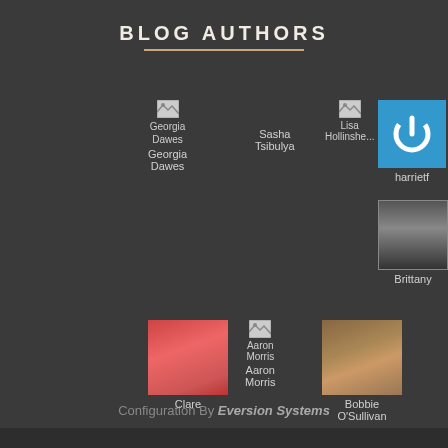BLOG AUTHORS
[Figure (screenshot): Grid of blog author avatars with names: Georgia Dawes, Sasha Tsibulya, Lisa Hollinshead, harrietf, olivia, Brittany, carmarlen, Clare, Aaron Morris, Bobbie O'Sullivan]
Configuration By Eversion Systems